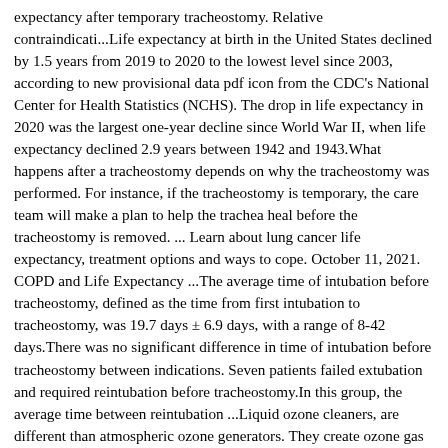expectancy after temporary tracheostomy. Relative contraindicati...Life expectancy at birth in the United States declined by 1.5 years from 2019 to 2020 to the lowest level since 2003, according to new provisional data pdf icon from the CDC's National Center for Health Statistics (NCHS). The drop in life expectancy in 2020 was the largest one-year decline since World War II, when life expectancy declined 2.9 years between 1942 and 1943.What happens after a tracheostomy depends on why the tracheostomy was performed. For instance, if the tracheostomy is temporary, the care team will make a plan to help the trachea heal before the tracheostomy is removed. ... Learn about lung cancer life expectancy, treatment options and ways to cope. October 11, 2021. COPD and Life Expectancy ...The average time of intubation before tracheostomy, defined as the time from first intubation to tracheostomy, was 19.7 days ± 6.9 days, with a range of 8-42 days.There was no significant difference in time of intubation before tracheostomy between indications. Seven patients failed extubation and required reintubation before tracheostomy.In this group, the average time between reintubation ...Liquid ozone cleaners, are different than atmospheric ozone generators. They create ozone gas infused into a water media, as opposed to the air. Since ozone is an unstable molecule, it reverts to oxygen faster than the. Ozone at ambient temperatures is the only substance which can be used as a total sterilizing agent and a substitute for high temperature sterilisation.Jul 05, 2017 ·